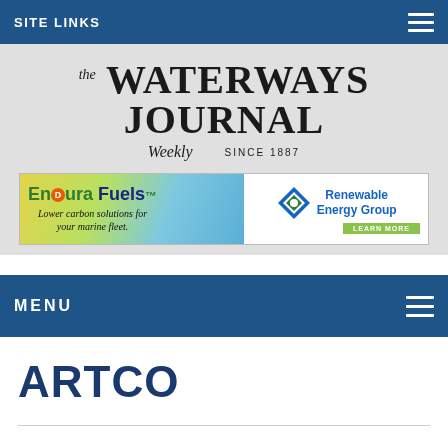SITE LINKS
the WATERWAYS JOURNAL Weekly SINCE 1887
[Figure (infographic): EnDura Fuels advertisement banner — 'Lower carbon solutions for your marine fleet.' with Renewable Energy Group logo and LEARN MORE button]
MENU
ARTCO